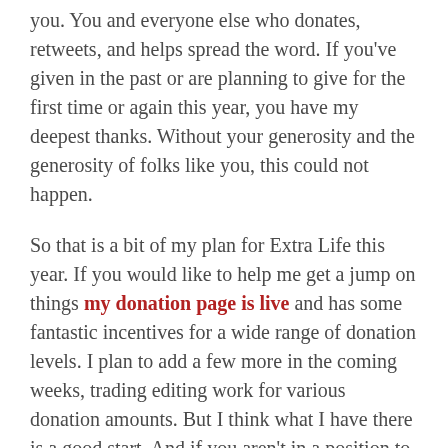you. You and everyone else who donates, retweets, and helps spread the word. If you've given in the past or are planning to give for the first time or again this year, you have my deepest thanks. Without your generosity and the generosity of folks like you, this could not happen.
So that is a bit of my plan for Extra Life this year. If you would like to help me get a jump on things my donation page is live and has some fantastic incentives for a wide range of donation levels. I plan to add a few more in the coming weeks, trading editing work for various donation amounts. But I think what I have there is a good start. And if you aren't in a position to donate quite yet, sharing this article or the tweet you found it in will help me out immensely and is appreciated.
Thanks for reading! I hope you'll help me get my Extra